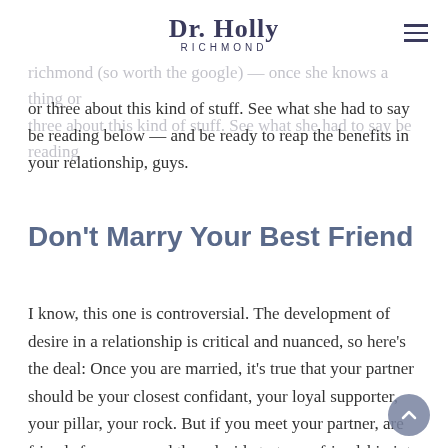Dr. Holly Richmond
richmond (so worth the google) — once she knows a thing or three about this kind of stuff. See what she had to say be reading below — and be ready to reap the benefits in your relationship, guys.
Don't Marry Your Best Friend
I know, this one is controversial. The development of desire in a relationship is critical and nuanced, so here's the deal: Once you are married, it's true that your partner should be your closest confidant, your loyal supporter, your pillar, your rock. But if you meet your partner, are friends for years, and then decide to turn a friendship into a romance, there can be problems with desire down the road. The marriage is based on companionship, not